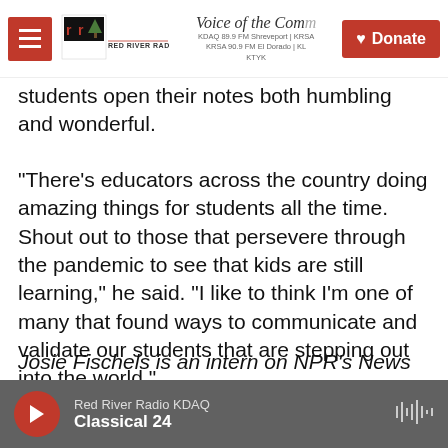Red River Radio | Voice of the Community | KDAQ 89.9 FM Shreveport | KRSA 90.9 FM El Dorado | KTYK | Donate
students open their notes both humbling and wonderful.
"There's educators across the country doing amazing things for students all the time. Shout out to those that persevere through the pandemic to see that kids are still learning," he said. "I like to think I'm one of many that found ways to communicate and validate our students that are stepping out into the world."
Josie Fischels is an intern on NPR's News Desk.
Copyright 2021 NPR. To see more, visit
Red River Radio KDAQ | Classical 24